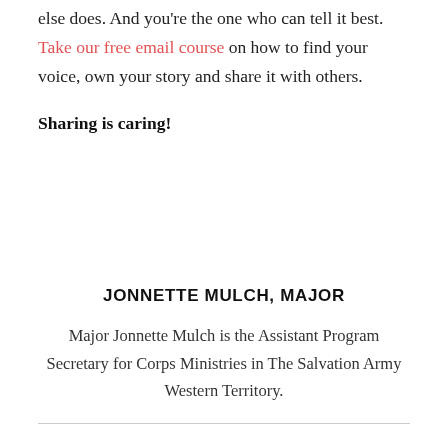else does. And you're the one who can tell it best. Take our free email course on how to find your voice, own your story and share it with others.
Sharing is caring!
JONNETTE MULCH, MAJOR
Major Jonnette Mulch is the Assistant Program Secretary for Corps Ministries in The Salvation Army Western Territory.